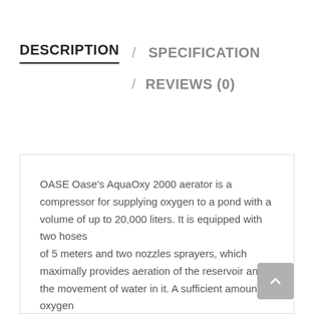DESCRIPTION / SPECIFICATION
/ REVIEWS (0)
OASE Oase's AquaOxy 2000 aerator is a compressor for supplying oxygen to a pond with a volume of up to 20,000 liters. It is equipped with two hoses of 5 meters and two nozzles sprayers, which maximally provides aeration of the reservoir and the movement of water in it. A sufficient amount of oxygen